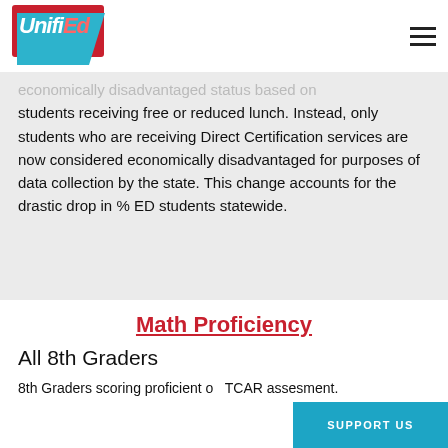UnifiEd
economically disadvantaged status based on students receiving free or reduced lunch. Instead, only students who are receiving Direct Certification services are now considered economically disadvantaged for purposes of data collection by the state. This change accounts for the drastic drop in % ED students statewide.
Math Proficiency
All 8th Graders
8th Graders scoring proficient on TCAR assesment.